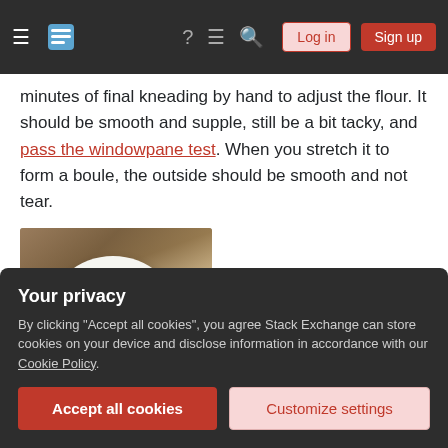Stack Exchange navigation bar with hamburger menu, logo, help, chat, search, Log in and Sign up buttons
minutes of final kneading by hand to adjust the flour. It should be smooth and supple, still be a bit tacky, and pass the windowpane test. When you stretch it to form a boule, the outside should be smooth and not tear.
[Figure (photo): A smooth round ball of bread dough (boule) resting on a wooden cutting board with a colorful patterned background]
In addition, let the...
Your privacy
By clicking "Accept all cookies", you agree Stack Exchange can store cookies on your device and disclose information in accordance with our Cookie Policy.
Accept all cookies   Customize settings